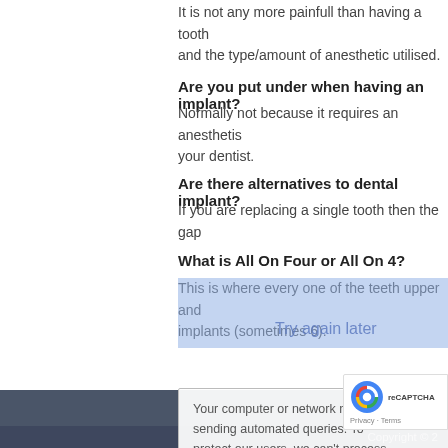It is not any more painfull than having a tooth and the type/amount of anesthetic utilised.
Are you put under when having an implant?
Normally not because it requires an anesthetis your dentist.
Are there alternatives to dental implant?
If you are replacing a single tooth then the gap
What is All On Four or All On 4?
This is where every one of the teeth upper and implants (sometimes 6).
Try again later
Why not complete the form in the Contact tab surprised at how reasonably priced it will be.
Your computer or network may be sending automated queries. To protect our users, we can't process your request right now. For more details visit our help page.
Copyright © 2